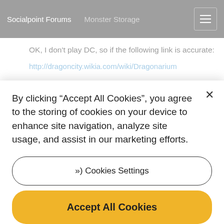Socialpoint Forums — Monster Storage
OK, I don't play DC, so if the following link is accurate:
http://dragoncity.wikia.com/wiki/Dragonarium
Are those purple things things the equivalent of ML gems? If so, that would seem a reasonable solution. The first 5 slots being free is...
By clicking “Accept All Cookies”, you agree to the storing of cookies on your device to enhance site navigation, analyze site usage, and assist in our marketing efforts.
))) Cookies Settings
Accept All Cookies